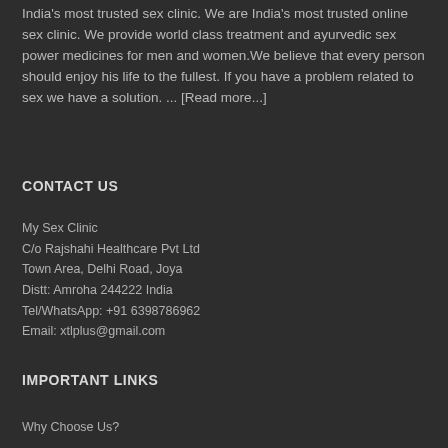India's most trusted sex clinic. We are India's most trusted online sex clinic. We provide world class treatment and ayurvedic sex power medicines for men and women. We believe that every person should enjoy his life to the fullest. If you have a problem related to sex we have a solution. ... [Read more...]
CONTACT US
My Sex Clinic
C/o Rajshahi Healthcare Pvt Ltd
Town Area, Delhi Road, Joya
Distt: Amroha 244222 India
Tel/WhatsApp: +91 6398786962
Email: xtlplus@gmail.com
IMPORTANT LINKS
Why Choose Us?